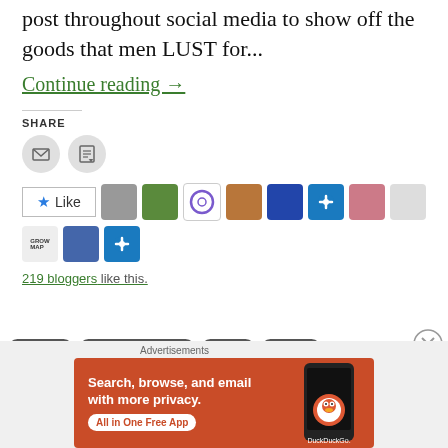post throughout social media to show off the goods that men LUST for...
Continue reading →
SHARE
[Figure (infographic): Email and print share icon buttons (circular gray icons)]
[Figure (infographic): Like button with star icon and row of 11 blogger avatar thumbnails]
219 bloggers like this.
BEAUTY   BEAUTY PRODUCTS   BODY   FAMILY
[Figure (infographic): DuckDuckGo advertisement banner: Search, browse, and email with more privacy. All in One Free App]